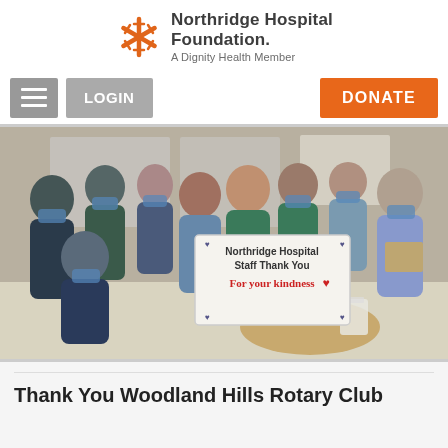Northridge Hospital Foundation. A Dignity Health Member
[Figure (photo): Navigation bar with hamburger menu button, LOGIN button, and orange DONATE button]
[Figure (photo): Group photo of Northridge Hospital medical staff wearing scrubs and masks, holding a handwritten sign reading: Northridge Hospital Staff Thank You For your kindness, with a heart symbol]
Thank You Woodland Hills Rotary Club